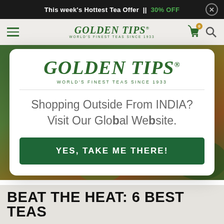This week's Hottest Tea Offer || 30% OFF
[Figure (logo): Golden Tips navigation bar logo with hamburger menu, cart icon with 0 count, and search icon]
[Figure (screenshot): Hero background image showing teas and mint leaves]
[Figure (logo): Golden Tips logo in modal - WORLD'S FINEST TEAS SINCE 1933]
Shopping Outside From INDIA? Visit Our Global Website.
YES, TAKE ME THERE!
BEAT THE HEAT: 6 BEST TEAS